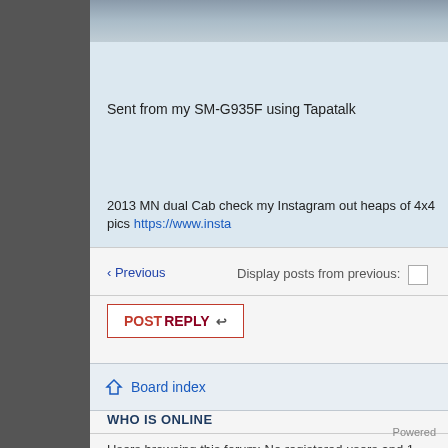[Figure (photo): Partial photo visible at top of page, appears to be an outdoor scene]
Sent from my SM-G935F using Tapatalk
2013 MN dual Cab check my Instagram out heaps of 4x4 pics https://www.insta
‹ Previous    Display posts from previous:
POSTREPLY ↩
‹ Return to Member Build Ups    Jum
WHO IS ONLINE
Users browsing this forum: No registered users and 1 guest
Board index
Powered